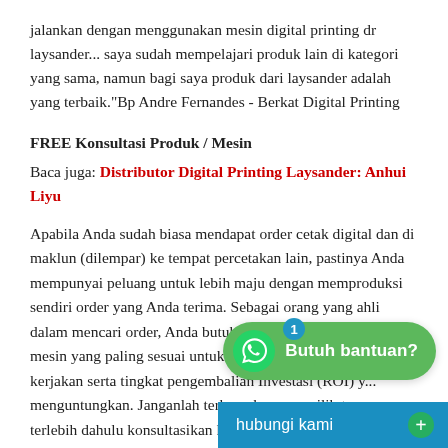jalankan dengan menggunakan mesin digital printing dr laysander... saya sudah mempelajari produk lain di kategori yang sama, namun bagi saya produk dari laysander adalah yang terbaik."Bp Andre Fernandes - Berkat Digital Printing
FREE Konsultasi Produk / Mesin
Baca juga: Distributor Digital Printing Laysander: Anhui Liyu
Apabila Anda sudah biasa mendapat order cetak digital dan di maklun (dilempar) ke tempat percetakan lain, pastinya Anda mempunyai peluang untuk lebih maju dengan memproduksi sendiri order yang Anda terima. Sebagai orang yang ahli dalam mencari order, Anda butuh pengetahuan mengenai mesin yang paling sesuai untuk target market yang anda kerjakan serta tingkat pengembalian Investasi (ROI) y... menguntungkan. Janganlah terburu-buru memilih tanpa terlebih dahulu konsultasikan kebutuhan Anda.... produk mempunyai keunggulan dan kel...
[Figure (other): WhatsApp floating chat button with green background, WhatsApp logo, text 'Butuh bantuan?' and a notification badge showing '1']
[Figure (other): Blue 'hubungi kami' bar with a green plus button at the bottom right corner]